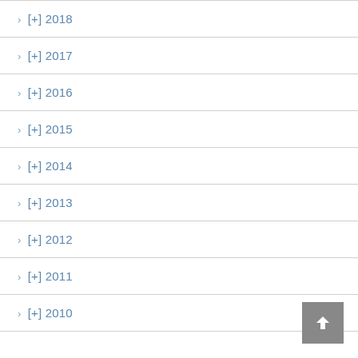[+] 2018
[+] 2017
[+] 2016
[+] 2015
[+] 2014
[+] 2013
[+] 2012
[+] 2011
[+] 2010